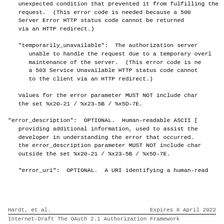unexpected condition that prevented it from fulfilling the request.  (This error code is needed because a 500 Internal Server Error HTTP status code cannot be returned to the client via an HTTP redirect.)
"temporarily_unavailable":  The authorization server is temporarily unable to handle the request due to a temporary overloading or maintenance of the server.  (This error code is needed because a 503 Service Unavailable HTTP status code cannot be returned to the client via an HTTP redirect.)
Values for the error parameter MUST NOT include characters outside the set %x20-21 / %x23-5B / %x5D-7E.
"error_description":  OPTIONAL.  Human-readable ASCII [USASCII] text providing additional information, used to assist the client developer in understanding the error that occurred.  Values for the error_description parameter MUST NOT include characters outside the set %x20-21 / %x23-5B / %x5D-7E.
"error_uri":  OPTIONAL.  A URI identifying a human-readable web page with information about the error, used to provide the client developer with additional information about the error.
Hardt, et al.                Expires 8 April 2022
Internet-Draft    The OAuth 2.1 Authorization Framework